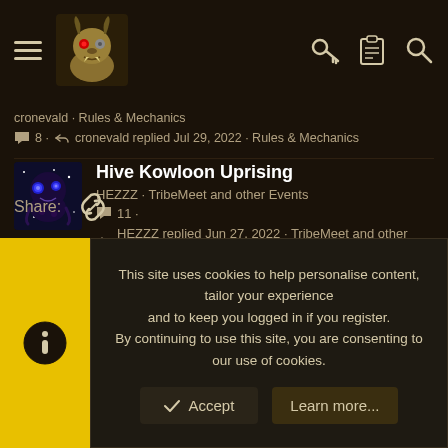Navigation header with hamburger menu, site logo, key icon, clipboard icon, search icon
cronevald · Rules & Mechanics
💬 8 · cronevald replied Jul 29, 2022 · Rules & Mechanics
Hive Kowloon Uprising
HEZZZ · TribeMeet and other Events
💬 11 ·
HEZZZ replied Jun 27, 2022 · TribeMeet and other Events
Share:
This site uses cookies to help personalise content, tailor your experience and to keep you logged in if you register.
By continuing to use this site, you are consenting to our use of cookies.
✓ Accept    Learn more...